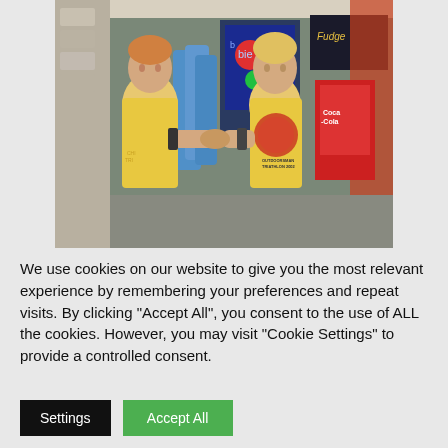[Figure (photo): Two people in yellow t-shirts shaking hands indoors near a merchandise rack with blue shirts hanging. Background shows colorful game machines and a Coca-Cola vending machine. The younger person's shirt reads 'OUTDOORSMAN TRIATHLON 2002'.]
We use cookies on our website to give you the most relevant experience by remembering your preferences and repeat visits. By clicking "Accept All", you consent to the use of ALL the cookies. However, you may visit "Cookie Settings" to provide a controlled consent.